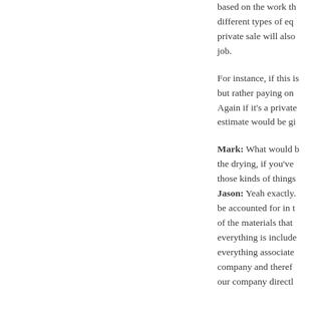based on the work th different types of eq private sale will also job.
For instance, if this is but rather paying on Again if it's a private estimate would be gi
Mark: What would b the drying, if you've those kinds of things Jason: Yeah exactly. be accounted for in of the materials that everything is include everything associate company and theref our company directl